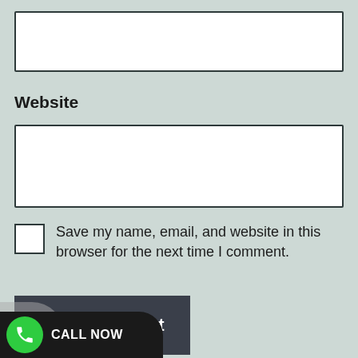[Figure (screenshot): Empty text input field (top)]
Website
[Figure (screenshot): Empty website URL input field]
Save my name, email, and website in this browser for the next time I comment.
[Figure (screenshot): Post Comment button (dark background, white text)]
[Figure (screenshot): CALL NOW button with green phone icon on black pill-shaped bar at bottom]